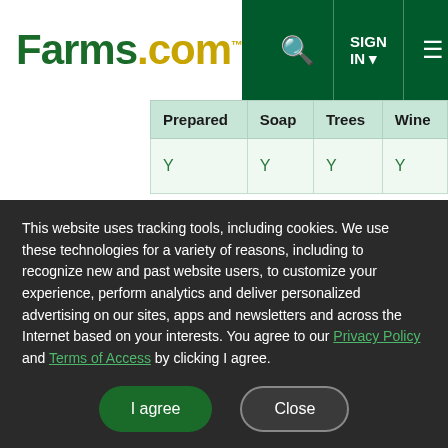Farms.com — SIGN IN — navigation
| Prepared | Soap | Trees | Wine |
| --- | --- | --- | --- |
| Y | Y | Y | Y |
Armstrong Farmers Market
Address: Armstrong IPE Fairgrounds,Armstrong, British ColumbiaV0E 1B0
Hours of Operation: Saturday June 29, 2013 -
This website uses tracking tools, including cookies. We use these technologies for a variety of reasons, including to recognize new and past website users, to customize your experience, perform analytics and deliver personalized advertising on our sites, apps and newsletters and across the Internet based on your interests. You agree to our Privacy Policy and Terms of Access by clicking I agree.